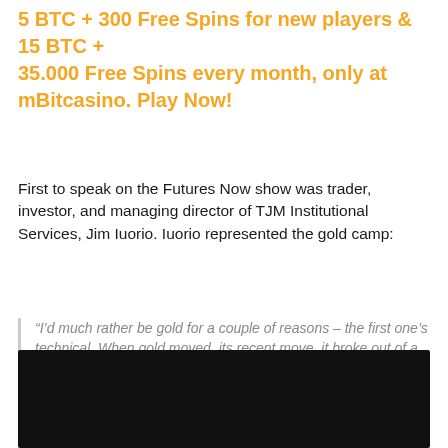5 BTC + 300 Free Spins for new players & 15 BTC + 35.000 Free Spins every month, only at mBitcasino. Play Now!
First to speak on the Futures Now show was trader, investor, and managing director of TJM Institutional Services, Jim Iuorio. Iuorio represented the gold camp:
“I’d much rather be gold for a couple of reasons – the first one’s technical. When gold moved, its recent move, it broke out of a fairly severe downtrend, and I think it’s heading up to about $1,360ish.”
[Figure (photo): Black rectangle image at the bottom of the page, likely a video thumbnail or image placeholder.]